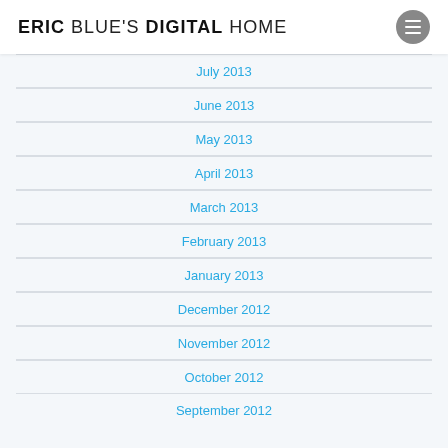ERIC BLUE'S DIGITAL HOME
July 2013
June 2013
May 2013
April 2013
March 2013
February 2013
January 2013
December 2012
November 2012
October 2012
September 2012